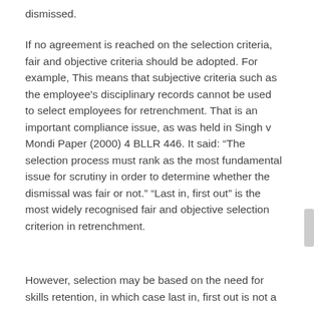dismissed.
If no agreement is reached on the selection criteria, fair and objective criteria should be adopted. For example, This means that subjective criteria such as the employee's disciplinary records cannot be used to select employees for retrenchment. That is an important compliance issue, as was held in Singh v Mondi Paper (2000) 4 BLLR 446. It said: “The selection process must rank as the most fundamental issue for scrutiny in order to determine whether the dismissal was fair or not.” “Last in, first out” is the most widely recognised fair and objective selection criterion in retrenchment.
However, selection may be based on the need for skills retention, in which case last in, first out is not a